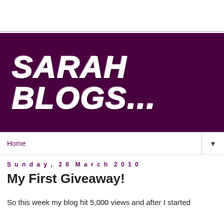[Figure (logo): Blog banner with dark purple background and white brush-script text reading 'SARAH BLOGS...']
Home ▼
Sunday, 28 March 2010
My First Giveaway!
So this week my blog hit 5,000 views and after I started